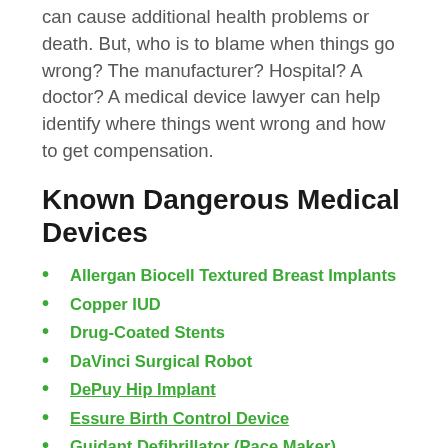can cause additional health problems or death. But, who is to blame when things go wrong? The manufacturer? Hospital? A doctor? A medical device lawyer can help identify where things went wrong and how to get compensation.
Known Dangerous Medical Devices
Allergan Biocell Textured Breast Implants
Copper IUD
Drug-Coated Stents
DaVinci Surgical Robot
DePuy Hip Implant
Essure Birth Control Device
Guidant Defibrillator (Pace Maker)
IVC Filter
Metal Hip Replacement Hardware
Pelvic Mesh Products
Physiomesh